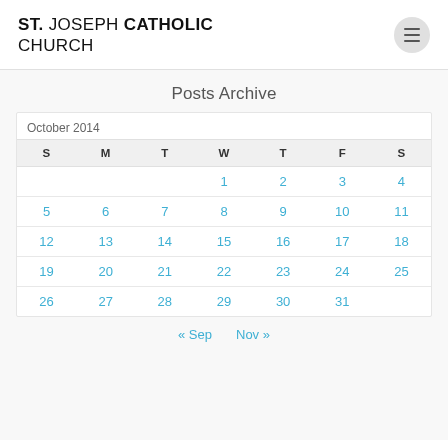ST. JOSEPH CATHOLIC CHURCH
Posts Archive
| S | M | T | W | T | F | S |
| --- | --- | --- | --- | --- | --- | --- |
|  |  |  | 1 | 2 | 3 | 4 |
| 5 | 6 | 7 | 8 | 9 | 10 | 11 |
| 12 | 13 | 14 | 15 | 16 | 17 | 18 |
| 19 | 20 | 21 | 22 | 23 | 24 | 25 |
| 26 | 27 | 28 | 29 | 30 | 31 |  |
« Sep   Nov »